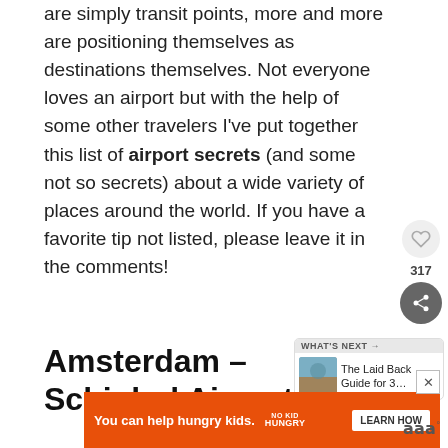are simply transit points, more and more are positioning themselves as destinations themselves. Not everyone loves an airport but with the help of some other travelers I've put together this list of airport secrets (and some not so secrets) about a wide variety of places around the world. If you have a favorite tip not listed, please leave it in the comments!
Amsterdam – Schiphol Airport
[Figure (screenshot): Advertisement banner: orange background, text 'You can help hungry kids.' with No Kid Hungry logo and LEARN HOW button]